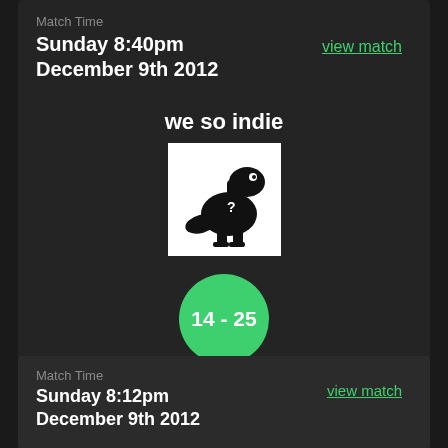Match Time
Sunday 8:40pm
December 9th 2012
view match
we so indie
[Figure (illustration): Black dinosaur / team mascot silhouette with question mark on white background]
14 - 25
[Figure (illustration): Black dinosaur / team mascot silhouette with question mark on white background]
riSing e-sports
Match Time
Sunday 8:12pm
December 9th 2012
view match